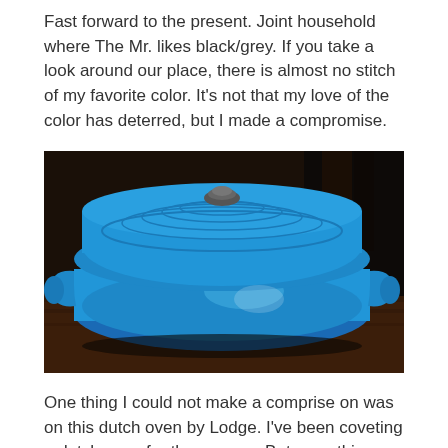Fast forward to the present. Joint household where The Mr. likes black/grey. If you take a look around our place, there is almost no stitch of my favorite color. It's not that my love of the color has deterred, but I made a compromise.
[Figure (photo): A blue enameled cast iron Dutch oven with lid, sitting on a dark wooden surface. The pot is a vibrant sky blue color with a dark grey knob on top of the lid. The lid has concentric circular ridges. The pot has two side handles.]
One thing I could not make a comprise on was on this dutch oven by Lodge. I've been coveting a dutch oven for three years. But something spurred me this year to do research and buy one as a gift for myself. I